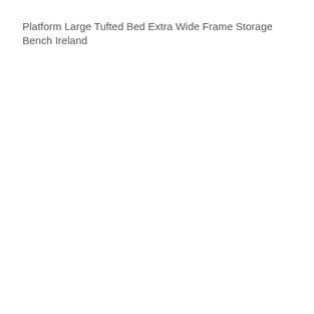Platform Large Tufted Bed Extra Wide Frame Storage Bench Ireland